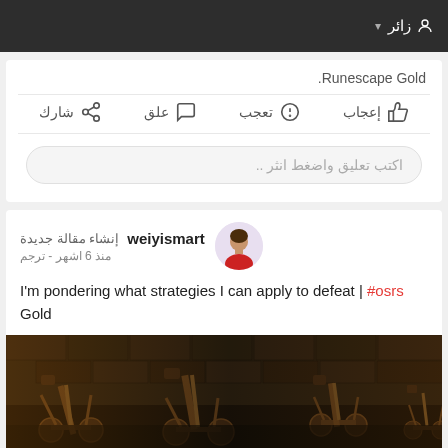زائر ▾
Runescape Gold.
إعجاب  تعجب  علق  شارك
اكتب تعليق واضغط انثر ..
weiyismart  إنشاء مقالة جديدة
منذ 6 اشهر - ترجم
I'm pondering what strategies I can apply to defeat | #osrs Gold
[Figure (screenshot): Screenshot of a dark fantasy/medieval game scene showing wooden structures, catapults and weapons in a dungeon-like environment]